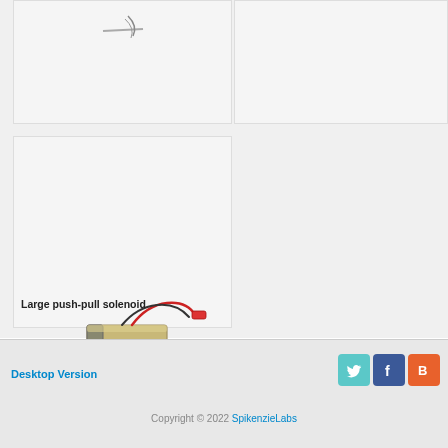[Figure (photo): Muscle Wire product image (partial, top cropped)]
Muscle Wire - 0.005" Diameter (1 foot)
[Figure (photo): 5V 10A switching power supply image - gray bar visible at top]
5V 10A switching power supply
[Figure (photo): Large push-pull solenoid - metallic rectangular body with red wire]
Large push-pull solenoid
Desktop Version
[Figure (logo): Twitter icon - teal bird logo]
[Figure (logo): Facebook icon - blue f logo]
[Figure (logo): Blogger icon - orange B logo]
Copyright © 2022 SpikenzieLabs